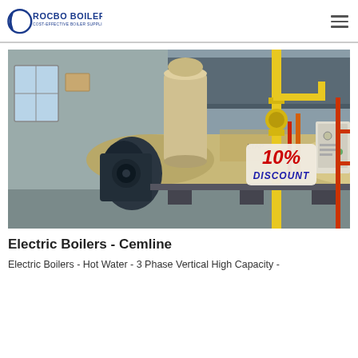ROCBO BOILER - COST-EFFECTIVE BOILER SUPPLIER
[Figure (photo): Industrial gas-fired boiler system in a factory setting with yellow piping, a large cylindrical boiler body, burner assembly, and a 10% DISCOUNT badge overlay]
Electric Boilers - Cemline
Electric Boilers - Hot Water - 3 Phase Vertical High Capacity -